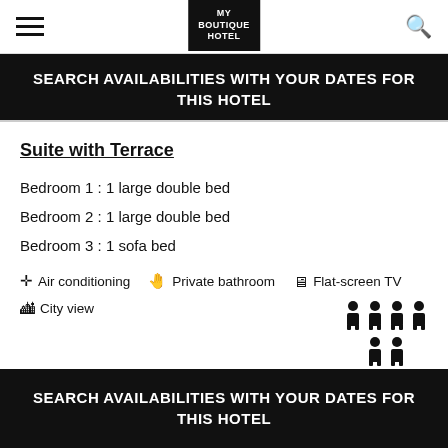MY BOUTIQUE HOTEL
SEARCH AVAILABILITIES WITH YOUR DATES FOR THIS HOTEL
Suite with Terrace
Bedroom 1 : 1 large double bed
Bedroom 2 : 1 large double bed
Bedroom 3 : 1 sofa bed
Air conditioning
Private bathroom
Flat-screen TV
City view
[Figure (infographic): Occupancy icons showing 4 adult figures on top row and 2 adult figures on bottom row]
SEARCH AVAILABILITIES WITH YOUR DATES FOR THIS HOTEL